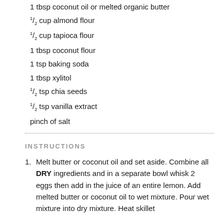1 tbsp coconut oil or melted organic butter
1/2 cup almond flour
1/2 cup tapioca flour
1 tbsp coconut flour
1 tsp baking soda
1 tbsp xylitol
1/2 tsp chia seeds
1/2 tsp vanilla extract
pinch of salt
INSTRUCTIONS
Melt butter or coconut oil and set aside. Combine all DRY ingredients and in a separate bowl whisk 2 eggs then add in the juice of an entire lemon. Add melted butter or coconut oil to wet mixture. Pour wet mixture into dry mixture. Heat skillet